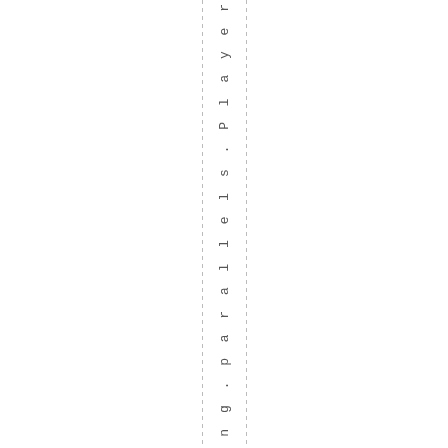l l e c t i n g . p a r a l l e l s . P l a y e r